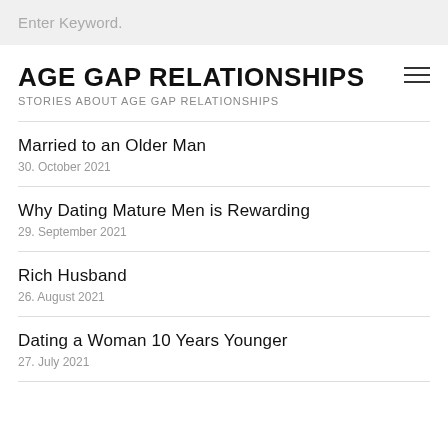Enter Keyword.
AGE GAP RELATIONSHIPS
STORIES ABOUT AGE GAP RELATIONSHIPS
Married to an Older Man
30. October 2021
Why Dating Mature Men is Rewarding
29. September 2021
Rich Husband
26. August 2021
Dating a Woman 10 Years Younger
27. July 2021